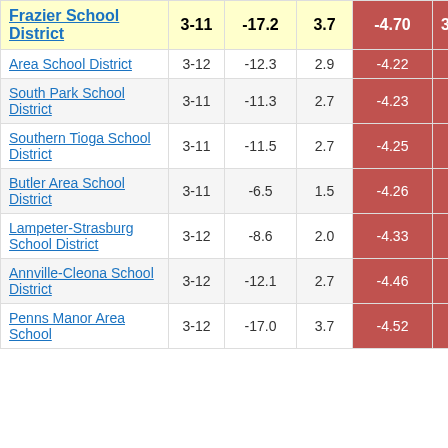| School District | Grades | Col3 | Col4 | Col5 |  |
| --- | --- | --- | --- | --- | --- |
| Frazier School District | 3-11 | -17.2 | 3.7 | -4.70 | 3 |
| Area School District | 3-12 | -12.3 | 2.9 | -4.22 |  |
| South Park School District | 3-11 | -11.3 | 2.7 | -4.23 |  |
| Southern Tioga School District | 3-11 | -11.5 | 2.7 | -4.25 |  |
| Butler Area School District | 3-11 | -6.5 | 1.5 | -4.26 |  |
| Lampeter-Strasburg School District | 3-12 | -8.6 | 2.0 | -4.33 |  |
| Annville-Cleona School District | 3-12 | -12.1 | 2.7 | -4.46 |  |
| Penns Manor Area School | 3-12 | -17.0 | 3.7 | -4.52 |  |